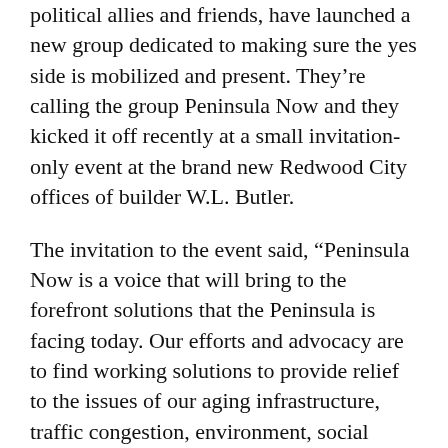political allies and friends, have launched a new group dedicated to making sure the yes side is mobilized and present. They're calling the group Peninsula Now and they kicked it off recently at a small invitation-only event at the brand new Redwood City offices of builder W.L. Butler.
The invitation to the event said, “Peninsula Now is a voice that will bring to the forefront solutions that the Peninsula is facing today. Our efforts and advocacy are to find working solutions to provide relief to the issues of our aging infrastructure, traffic congestion, environment, social infrastructure and inclusion.”
At the request of Gee and Seybert, I participated at the kick-off event by asking them questions aimed at learning why they are forming the group. Because it was